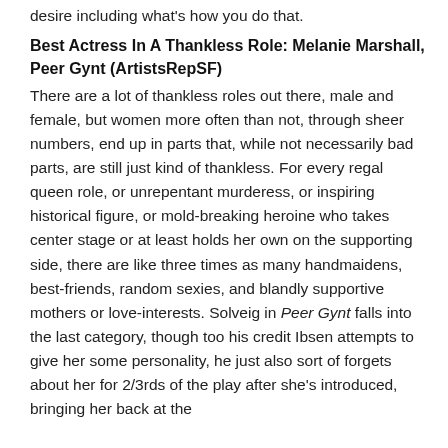desire including what's how you do that.
Best Actress In A Thankless Role: Melanie Marshall, Peer Gynt (ArtistsRepSF)
There are a lot of thankless roles out there, male and female, but women more often than not, through sheer numbers, end up in parts that, while not necessarily bad parts, are still just kind of thankless. For every regal queen role, or unrepentant murderess, or inspiring historical figure, or mold-breaking heroine who takes center stage or at least holds her own on the supporting side, there are like three times as many handmaidens, best-friends, random sexies, and blandly supportive mothers or love-interests. Solveig in Peer Gynt falls into the last category, though too his credit Ibsen attempts to give her some personality, he just also sort of forgets about her for 2/3rds of the play after she's introduced, bringing her back at the